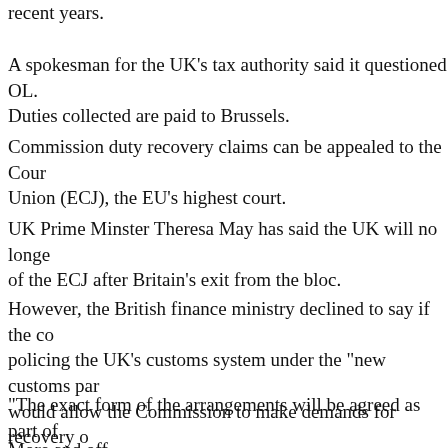Britain has failed to apply the correct EU rules on imports in recent years.
A spokesman for the UK's tax authority said it questioned OL... Duties collected are paid to Brussels.
Commission duty recovery claims can be appealed to the Court of Justice of the European Union (ECJ), the EU's highest court.
UK Prime Minster Theresa May has said the UK will no longer be under the jurisdiction of the ECJ after Britain's exit from the bloc.
However, the British finance ministry declined to say if the co... policing the UK's customs system under the "new customs par... would allow the Commission to make demands for recovery o...
"The exact form of the arrangements will be agreed as part of... spokeswoman said.
More and off...